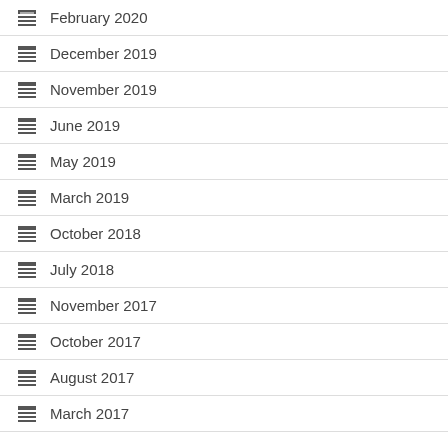February 2020
December 2019
November 2019
June 2019
May 2019
March 2019
October 2018
July 2018
November 2017
October 2017
August 2017
March 2017